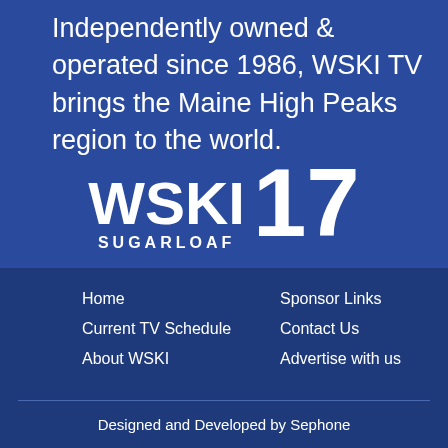Independently owned & operated since 1986, WSKI TV brings the Maine High Peaks region to the world.
[Figure (logo): WSKI SUGARLOAF 17 logo — white text on blue background]
Home
Current TV Schedule
About WSKI
Sponsor Links
Contact Us
Advertise with us
Designed and Developed by Sephone